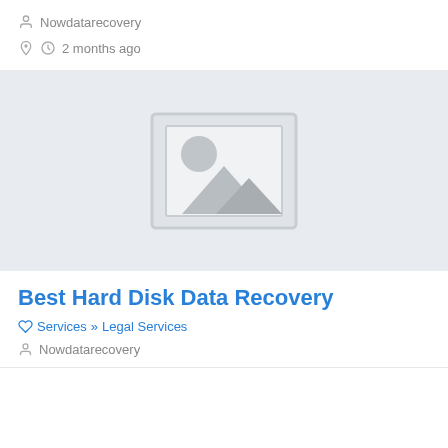Nowdatarecovery
2 months ago
[Figure (illustration): Placeholder image thumbnail showing a landscape silhouette with sun and mountains in grey tones]
Best Hard Disk Data Recovery
Services » Legal Services
Nowdatarecovery